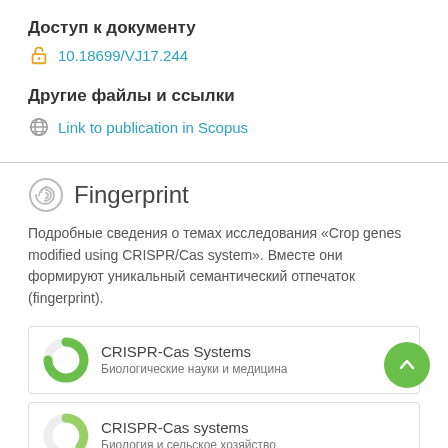Доступ к документу
10.18699/VJ17.244
Другие файлы и ссылки
Link to publication in Scopus
Fingerprint
Подробные сведения о темах исследования «Crop genes modified using CRISPR/Cas system». Вместе они формируют уникальный семантический отпечаток (fingerprint).
CRISPR-Cas Systems
Биологические науки и медицина
CRISPR-Cas systems
Биология и сельское хозяйство